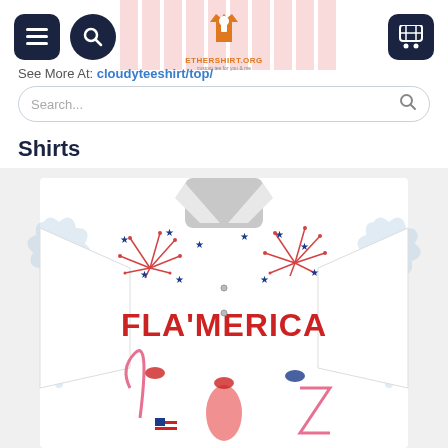ETHERSHIRT.ORG
See More At: cloudyteeshirt/top/
Shirts
[Figure (photo): Hawaiian shirt with flamingo 'FLA'MERICA' patriotic design featuring palm trees, fireworks, stars, and flamingos wearing sunglasses with American flag motifs]